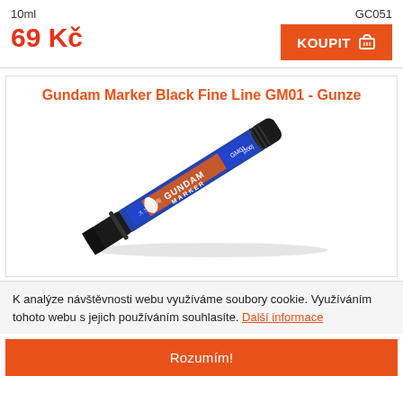10ml
GC051
69 Kč
KOUPIT
Gundam Marker Black Fine Line GM01 - Gunze
[Figure (photo): A Gundam Marker Black Fine Line GM01 pen/marker, blue barrel with black cap, with Japanese text and Gundam Marker branding visible on the barrel.]
K analýze návštěvnosti webu využíváme soubory cookie. Využíváním tohoto webu s jejich používáním souhlasíte. Další informace
Rozumím!